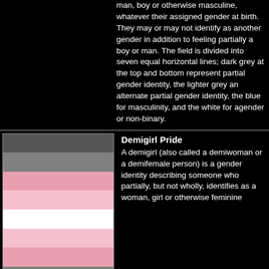man, boy or otherwise masculine, whatever their assigned gender at birth. They may or may not identify as another gender in addition to feeling partially a boy or man. The field is divided into seven equal horizontal lines; dark grey at the top and bottom represent partial gender identity, the lighter grey an alternate partial gender identity, the blue for masculinity, and the white for agender or non-binary.
[Figure (illustration): Demiboy/Demimanpride flag with 7 horizontal stripes: dark grey, grey, light grey, white, light grey, grey, dark grey]
Demigirl Pride
A demigirl (also called a demiwoman or a demifemale person) is a gender identity describing someone who partially, but not wholly, identifies as a woman, girl or otherwise feminine